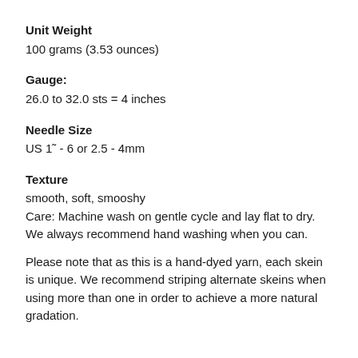Unit Weight
100 grams (3.53 ounces)
Gauge:
26.0 to 32.0 sts = 4 inches
Needle Size
US 1˜ - 6 or 2.5 - 4mm
Texture
smooth, soft, smooshy
Care: Machine wash on gentle cycle and lay flat to dry. We always recommend hand washing when you can.
Please note that as this is a hand-dyed yarn, each skein is unique. We recommend striping alternate skeins when using more than one in order to achieve a more natural gradation.